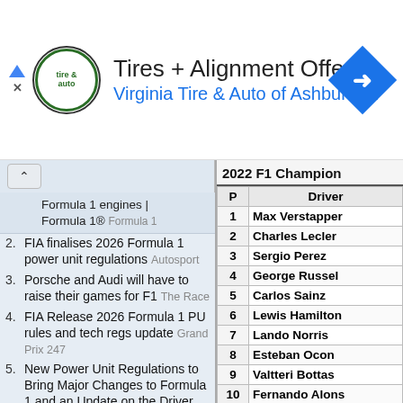[Figure (screenshot): Advertisement banner for Virginia Tire & Auto of Ashburn with logo, title 'Tires + Alignment Offer', subtitle 'Virginia Tire & Auto of Ashburn …', and a blue diamond navigation icon]
Formula 1 engines | Formula 1® Formula 1
2. FIA finalises 2026 Formula 1 power unit regulations Autosport
3. Porsche and Audi will have to raise their games for F1 The Race
4. FIA Release 2026 Formula 1 PU rules and tech regs update Grand Prix 247
5. New Power Unit Regulations to Bring Major Changes to Formula 1 and an Update on the Driver Market Knup Sports
6. View Full coverage on Google News
Magnussen says it's been a 'massive privilege' to make F1
| P | Driver |
| --- | --- |
| 1 | Max Verstappen |
| 2 | Charles Leclerc |
| 3 | Sergio Perez |
| 4 | George Russell |
| 5 | Carlos Sainz |
| 6 | Lewis Hamilton |
| 7 | Lando Norris |
| 8 | Esteban Ocon |
| 9 | Valtteri Bottas |
| 10 | Fernando Alonso |
| 11 | Kevin Magnussen |
| 12 | Daniel Ricciardo |
| 13 | Pierre Gasly |